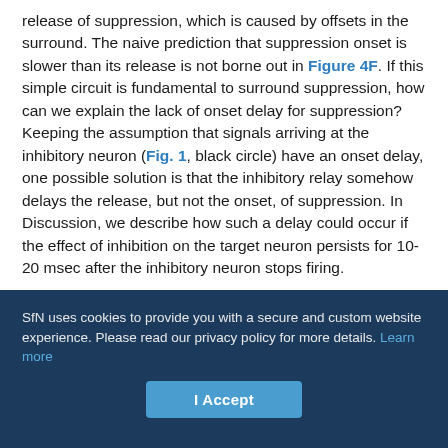release of suppression, which is caused by offsets in the surround. The naive prediction that suppression onset is slower than its release is not borne out in Figure 4F. If this simple circuit is fundamental to surround suppression, how can we explain the lack of onset delay for suppression? Keeping the assumption that signals arriving at the inhibitory neuron (Fig. 1, black circle) have an onset delay, one possible solution is that the inhibitory relay somehow delays the release, but not the onset, of suppression. In Discussion, we describe how such a delay could occur if the effect of inhibition on the target neuron persists for 10-20 msec after the inhibitory neuron stops firing.
[Figure (other): Partial figure box visible at bottom of text area]
SfN uses cookies to provide you with a secure and custom website experience. Please read our privacy policy for more details. Learn more